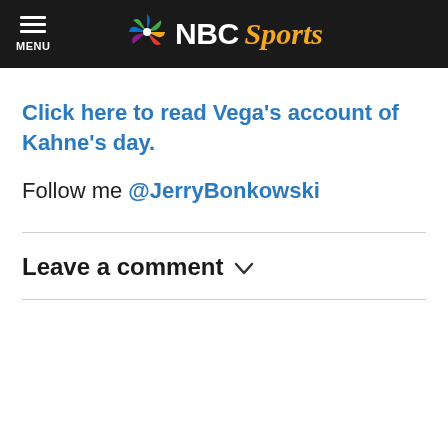MENU | NBC Sports
Click here to read Vega's account of Kahne's day.
Follow me @JerryBonkowski
Leave a comment